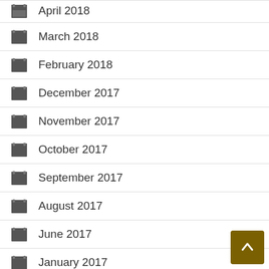April 2018
March 2018
February 2018
December 2017
November 2017
October 2017
September 2017
August 2017
June 2017
January 2017
November 2016
October 2016
September 2016
July 2016